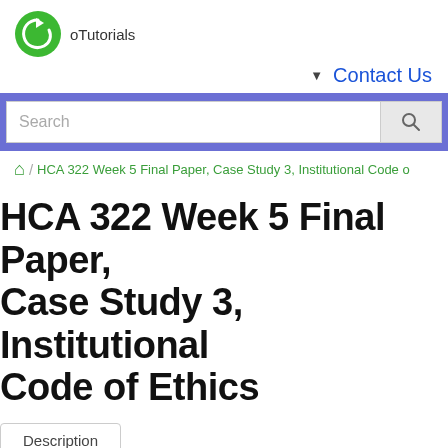[Figure (logo): oTutorials green circular arrow logo with text 'oTutorials']
Contact Us
Search
HCA 322 Week 5 Final Paper, Case Study 3, Institutional Code o...
HCA 322 Week 5 Final Paper, Case Study 3, Institutional Code of Ethics
Description